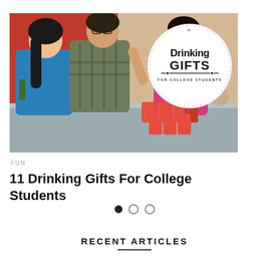[Figure (photo): Three college students playing beer pong around a ping-pong table. Two women and one man posing playfully. On the upper right of the image there is a circular badge that reads 'Drinking GIFTS FOR COLLEGE STUDENTS' in bold black text on white background with decorative elements.]
FUN
11 Drinking Gifts For College Students
RECENT ARTICLES